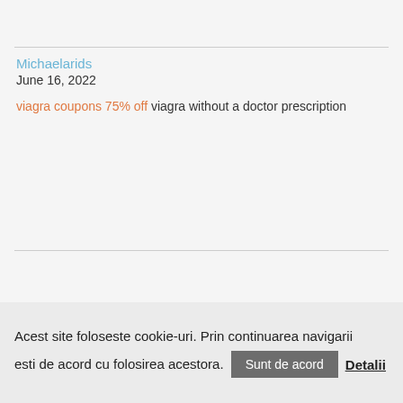Michaelarids
June 16, 2022
viagra coupons 75% off viagra without a doctor prescription
Acest site foloseste cookie-uri. Prin continuarea navigarii esti de acord cu folosirea acestora. Sunt de acord Detalii